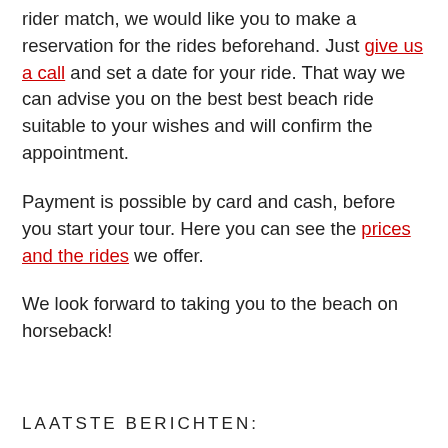rider match, we would like you to make a reservation for the rides beforehand. Just give us a call and set a date for your ride. That way we can advise you on the best best beach ride suitable to your wishes and will confirm the appointment.
Payment is possible by card and cash, before you start your tour. Here you can see the prices and the rides we offer.
We look forward to taking you to the beach on horseback!
LAATSTE BERICHTEN: